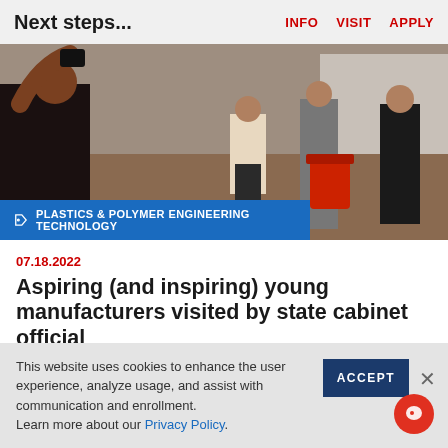Next steps...  INFO  VISIT  APPLY
[Figure (photo): People standing in what appears to be a manufacturing or workshop setting; a person in foreground gestures while others stand in background near equipment.]
PLASTICS & POLYMER ENGINEERING TECHNOLOGY
07.18.2022
Aspiring (and inspiring) young manufacturers visited by state cabinet official
This website uses cookies to enhance the user experience, analyze usage, and assist with communication and enrollment.
Learn more about our Privacy Policy.